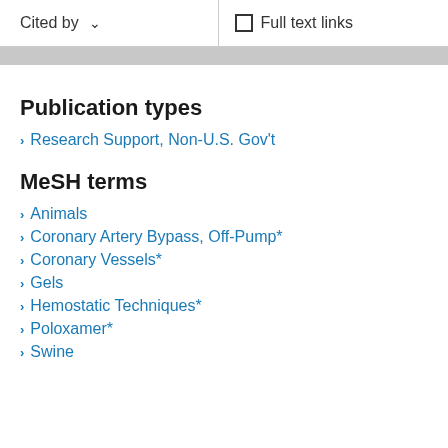Cited by    ∨    Full text links
Publication types
Research Support, Non-U.S. Gov't
MeSH terms
Animals
Coronary Artery Bypass, Off-Pump*
Coronary Vessels*
Gels
Hemostatic Techniques*
Poloxamer*
Swine